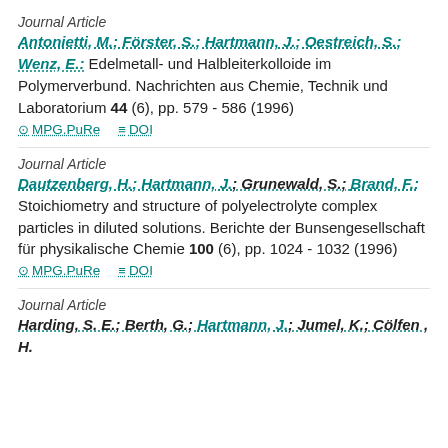Journal Article
Antonietti, M.; Förster, S.; Hartmann, J.; Oestreich, S.; Wenz, E.: Edelmetall- und Halbleiterkolloide im Polymerverbund. Nachrichten aus Chemie, Technik und Laboratorium 44 (6), pp. 579 - 586 (1996)
MPG.PuRe   DOI
Journal Article
Dautzenberg, H.; Hartmann, J.; Grunewald, S.; Brand, F.: Stoichiometry and structure of polyelectrolyte complex particles in diluted solutions. Berichte der Bunsengesellschaft für physikalische Chemie 100 (6), pp. 1024 - 1032 (1996)
MPG.PuRe   DOI
Journal Article
Harding, S. E.; Berth, G.; Hartmann, J.; Jumel, K.; Cölfen, H.